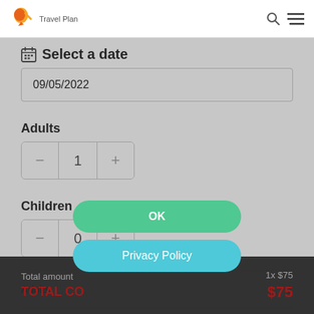Travel Plan
Select a date
09/05/2022
Adults
1
Children
0
|  |  |
| --- | --- |
| Adults | 1 |
| Children | 0 |
Total amount
1x $75
TOTAL CO...
$75